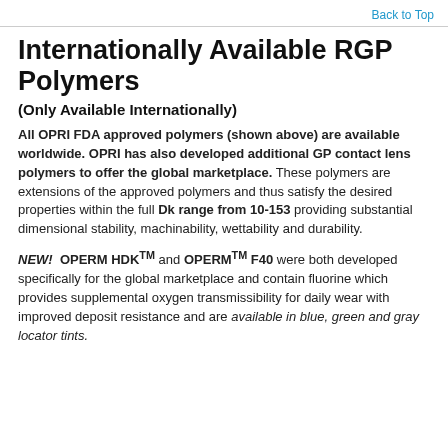Back to Top
Internationally Available RGP Polymers
(Only Available Internationally)
All OPRI FDA approved polymers (shown above) are available worldwide. OPRI has also developed additional GP contact lens polymers to offer the global marketplace. These polymers are extensions of the approved polymers and thus satisfy the desired properties within the full Dk range from 10-153 providing substantial dimensional stability, machinability, wettability and durability.
NEW! OPERM HDK™ and OPERM™ F40 were both developed specifically for the global marketplace and contain fluorine which provides supplemental oxygen transmissibility for daily wear with improved deposit resistance and are available in blue, green and gray locator tints.